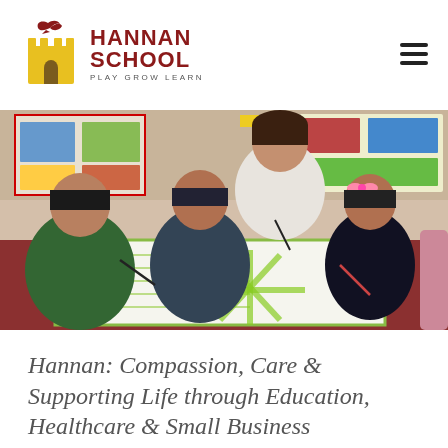[Figure (logo): Hannan School logo with bird and castle icon, text HANNAN SCHOOL, tagline PLAY GROW LEARN]
[Figure (photo): Children and a teacher/older student sitting around a table working on large colorful worksheets in a classroom with posters on the wall]
Hannan: Compassion, Care & Supporting Life through Education, Healthcare & Small Business